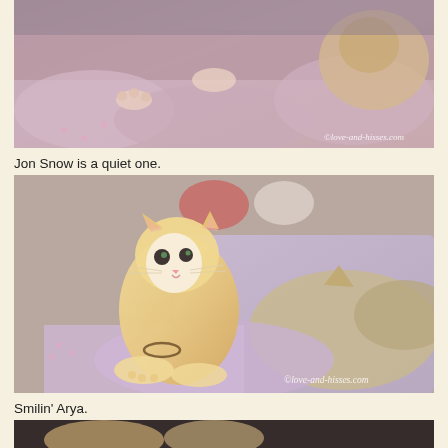[Figure (photo): Close-up photo of newborn kittens on a purple/pink blanket, with a stuffed animal visible. Watermark: ©love-and-hisses.com]
Jon Snow is a quiet one.
[Figure (photo): An orange and white kitten sitting up and looking at camera, surrounded by other sleeping kittens on a purple blanket. Watermark: ©love-and-hisses.com]
Smilin' Arya.
[Figure (photo): Partial photo at bottom of page showing kittens, cropped.]